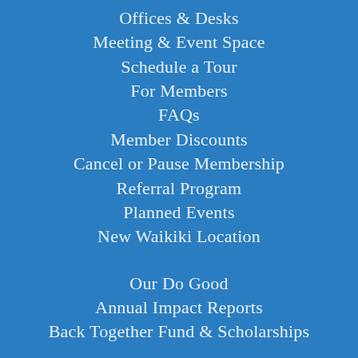Offices & Desks
Meeting & Event Space
Schedule a Tour
For Members
FAQs
Member Discounts
Cancel or Pause Membership
Referral Program
Planned Events
New Waikiki Location
Our Do Good
Annual Impact Reports
Back Together Fund & Scholarships